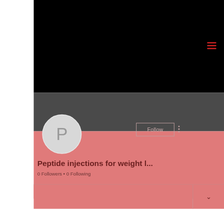[Figure (screenshot): Mobile app profile page screenshot. Top black banner area with red hamburger menu icon in top right. Below is a dark gray section transitioning to a pink/salmon background. A circular gray avatar with letter P is shown on the left. A Follow button with border and three-dot menu are on the right side of the gray section. Profile name reads 'Peptide injections for weight l...' with '0 Followers • 0 Following' below. Bottom section shows a pink bar with a chevron/dropdown arrow on the right.]